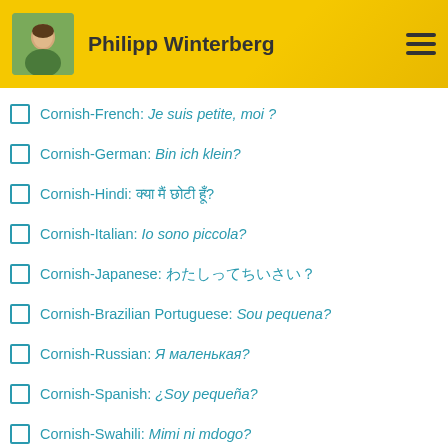Philipp Winterberg
Cornish-French: Je suis petite, moi ?
Cornish-German: Bin ich klein?
Cornish-Hindi: क्या मैं छोटी हूँ?
Cornish-Italian: Io sono piccola?
Cornish-Japanese: わたしってちいさい？
Cornish-Brazilian Portuguese: Sou pequena?
Cornish-Russian: Я маленькая?
Cornish-Spanish: ¿Soy pequeña?
Cornish-Swahili: Mimi ni mdogo?